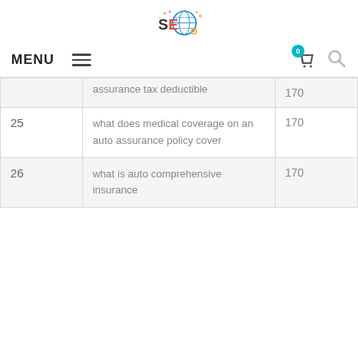[Figure (logo): SEO colorful logo with globe and 'SEO' text]
MENU [hamburger icon] [cart icon with badge 0] [search icon]
| # | Keyword | Volume |
| --- | --- | --- |
|  | assurance tax deductible | 170 |
| 25 | what does medical coverage on an auto assurance policy cover | 170 |
| 26 | what is auto comprehensive insurance | 170 |